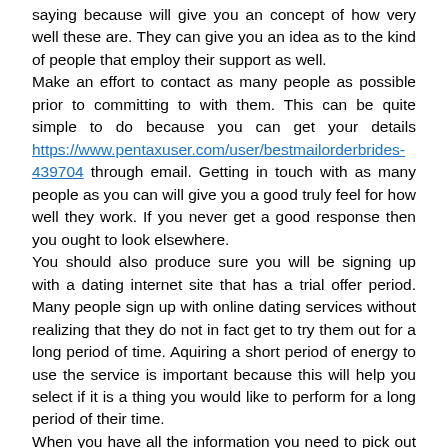saying because will give you an concept of how very well these are. They can give you an idea as to the kind of people that employ their support as well.
Make an effort to contact as many people as possible prior to committing to with them. This can be quite simple to do because you can get your details https://www.pentaxuser.com/user/bestmailorderbrides-439704 through email. Getting in touch with as many people as you can will give you a good truly feel for how well they work. If you never get a good response then you ought to look elsewhere.
You should also produce sure you will be signing up with a dating internet site that has a trial offer period. Many people sign up with online dating services without realizing that they do not in fact get to try them out for a long period of time. Aquiring a short period of energy to use the service is important because this will help you select if it is a thing you would like to perform for a long period of their time.
When you have all the information you need to pick out a good dating service, you should go ahead and do so. This will ensure that you are choosing the best you possible for you.